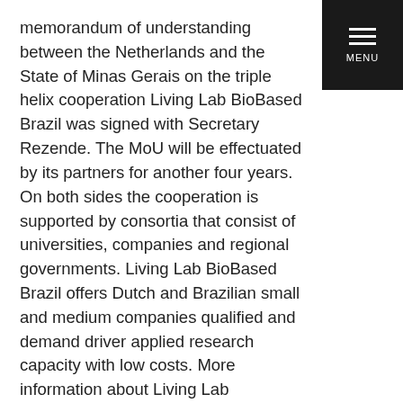memorandum of understanding between the Netherlands and the State of Minas Gerais on the triple helix cooperation Living Lab BioBased Brazil was signed with Secretary Rezende. The MoU will be effectuated by its partners for another four years. On both sides the cooperation is supported by consortia that consist of universities, companies and regional governments. Living Lab BioBased Brazil offers Dutch and Brazilian small and medium companies qualified and demand driver applied research capacity with low costs. More information about Living Lab BioBased Brazil and its projects can be found here: https://www.biobasedbrazil.org/
Furthermore, the Ambassador visited strategic partners of NBSO Brazil in facilitating Dutch business and investments to Minas Gerais. At the Federation of Industry of Minas Gerais – FIEMG Ambassador Kees van Rij and Chief Representative of NBSO Brazil in Belo Horizonte Remon...